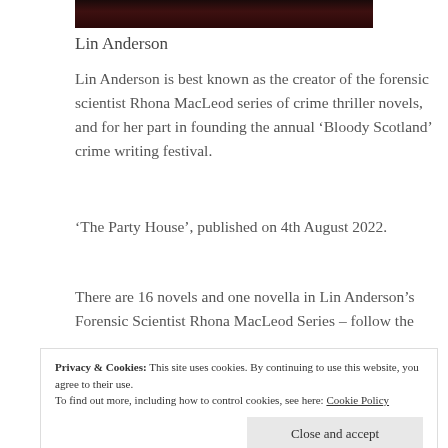[Figure (photo): Top portion of a photograph, showing dark reddish-brown tones, cropped at top of page]
Lin Anderson
Lin Anderson is best known as the creator of the forensic scientist Rhona MacLeod series of crime thriller novels, and for her part in founding the annual ‘Bloody Scotland’ crime writing festival.
‘The Party House’, published on 4th August 2022.
There are 16 novels and one novella in Lin Anderson’s Forensic Scientist Rhona MacLeod Series – follow the
Privacy & Cookies: This site uses cookies. By continuing to use this website, you agree to their use.
To find out more, including how to control cookies, see here: Cookie Policy
Close and accept
[Figure (photo): Bottom portion of a book cover showing IAN RANKIN author name on yellow background with blue elements]